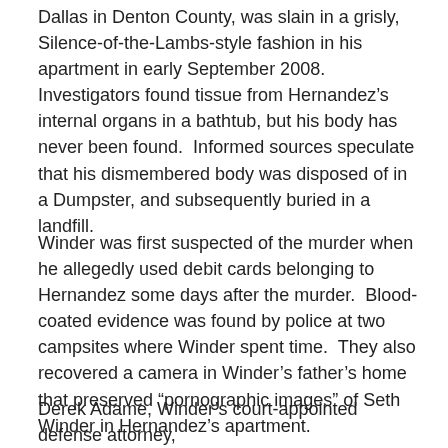Dallas in Denton County, was slain in a grisly, Silence-of-the-Lambs-style fashion in his apartment in early September 2008.  Investigators found tissue from Hernandez’s internal organs in a bathtub, but his body has never been found.  Informed sources speculate that his dismembered body was disposed of in a Dumpster, and subsequently buried in a landfill.
Winder was first suspected of the murder when he allegedly used debit cards belonging to Hernandez some days after the murder.  Blood-coated evidence was found by police at two campsites where Winder spent time.  They also recovered a camera in Winder’s father’s home that preserved “pornographic images” of Seth Winder in Hernandez’s apartment.
Derek Adame, Winder’s court-appointed defense attorney,